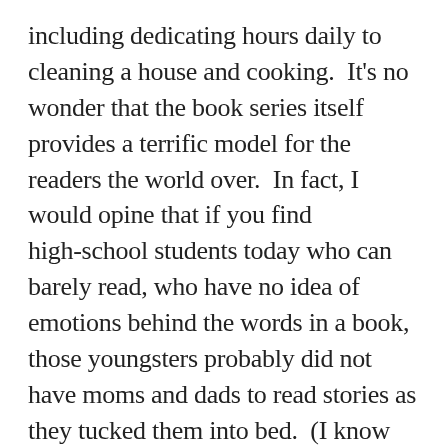including dedicating hours daily to cleaning a house and cooking.  It's no wonder that the book series itself provides a terrific model for the readers the world over.  In fact, I would opine that if you find high-school students today who can barely read, who have no idea of emotions behind the words in a book, those youngsters probably did not have moms and dads to read stories as they tucked them into bed.  (I know this from personal experience with hundreds of such high-school boys and girls.)
Yet the words “Pippi Longstocking” gets nary a mention in a movie loosely based on the author’s early life.  Co-writer and director Pernille Fischer Christensen bookends her